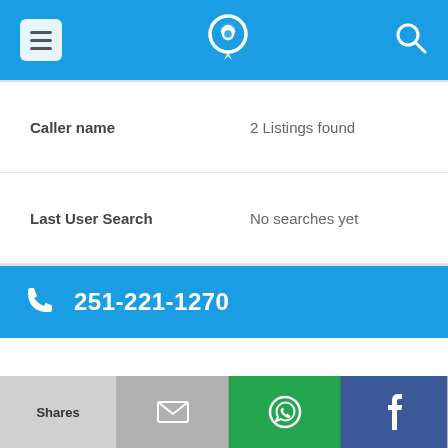App navigation bar with menu, phone lookup logo, and search icon
| Field | Value |
| --- | --- |
| Caller name | 2 Listings found |
| Last User Search | No searches yet |
| Comments |  |
251-221-1270
| Field | Value |
| --- | --- |
| Alternate Form | 2512211270 |
| Caller name | 5 Listings found |
Shares | Email | WhatsApp | Facebook